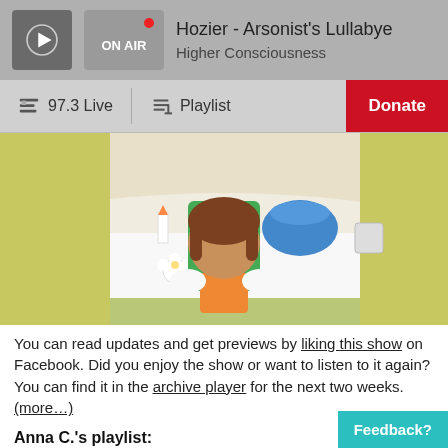Hozier - Arsonist's Lullabye / Higher Consciousness — ON AIR
97.3 Live | Playlist | Donate
[Figure (illustration): Cropped cartoon illustration showing a person with brown hair sitting in a green chair at a table with food items including a candle, blue pot, and cup; colorful tablecloth visible.]
You can read updates and get previews by liking this show on Facebook. Did you enjoy the show or want to listen to it again? You can find it in the archive player for the next two weeks. (more…)
Anna C.'s playlist:
Monday Breakfast Blend: November 19, 2018 »
Anna C.   Monday Breakfast Blend   November 19…
Feedback?